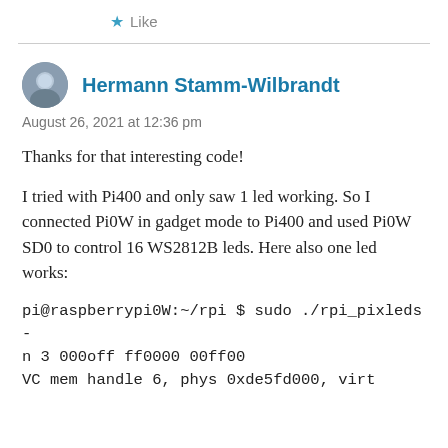★ Like
Hermann Stamm-Wilbrandt
August 26, 2021 at 12:36 pm
Thanks for that interesting code!
I tried with Pi400 and only saw 1 led working. So I connected Pi0W in gadget mode to Pi400 and used Pi0W SD0 to control 16 WS2812B leds. Here also one led works:
pi@raspberrypi0W:~/rpi $ sudo ./rpi_pixleds -n 3 000off ff0000 00ff00
VC mem handle 6, phys 0xde5fd000, virt